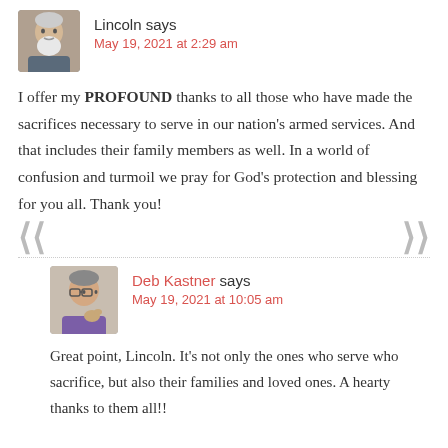[Figure (photo): Avatar photo of Lincoln, an older man with a white beard]
Lincoln says
May 19, 2021 at 2:29 am
I offer my PROFOUND thanks to all those who have made the sacrifices necessary to serve in our nation's armed services. And that includes their family members as well. In a world of confusion and turmoil we pray for God's protection and blessing for you all. Thank you!
[Figure (photo): Avatar photo of Deb Kastner, a woman with glasses holding a small dog]
Deb Kastner says
May 19, 2021 at 10:05 am
Great point, Lincoln. It's not only the ones who serve who sacrifice, but also their families and loved ones. A hearty thanks to them all!!